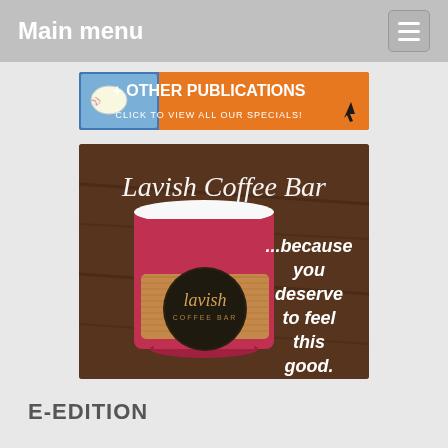Main menu
[Figure (other): Orange advertisement banner for a publications circular with text '+ OTHER PUBLICATIONS' and 'CLICK TO VIEW ALL OUR SPECIALS!' with a baseball action photo on the left and a cursor arrow on the right.]
[Figure (other): Lavish Coffee Bar advertisement showing a red paper coffee cup with a brown sleeve branded 'lavish COFFEE BAR' against a dark wood background. Text reads 'Lavish Coffee Bar ...because you deserve to feel this good.']
E-EDITION